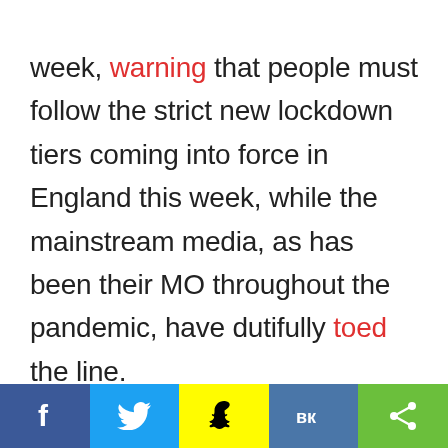week, warning that people must follow the strict new lockdown tiers coming into force in England this week, while the mainstream media, as has been their MO throughout the pandemic, have dutifully toed the line.

This raises a few questions. Are we really even having a second wave? Or is it just a suppressed first wave
[Figure (infographic): Social media sharing bar at the bottom with five buttons: Facebook (dark blue), Twitter (light blue), Snapchat (yellow), VK (steel blue), Share (green)]